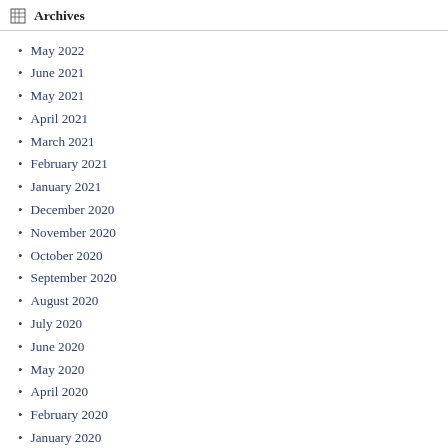Archives
May 2022
June 2021
May 2021
April 2021
March 2021
February 2021
January 2021
December 2020
November 2020
October 2020
September 2020
August 2020
July 2020
June 2020
May 2020
April 2020
February 2020
January 2020
December 2019
November 2019
October 2019
September 2019
August 2019
July 2019
June 2019